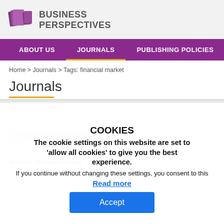[Figure (logo): Business Perspectives logo with stylized book/pages icon and text BUSINESS PERSPECTIVES]
ABOUT US   JOURNALS   PUBLISHING POLICIES
Home > Journals > Tags: financial market
Journals
COOKIES
The cookie settings on this website are set to 'allow all cookies' to give you the best experience.
If you continue without changing these settings, you consent to this
Read more
Accept